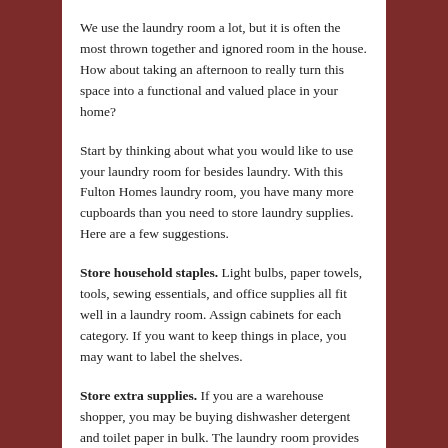We use the laundry room a lot, but it is often the most thrown together and ignored room in the house. How about taking an afternoon to really turn this space into a functional and valued place in your home?
Start by thinking about what you would like to use your laundry room for besides laundry. With this Fulton Homes laundry room, you have many more cupboards than you need to store laundry supplies. Here are a few suggestions.
Store household staples. Light bulbs, paper towels, tools, sewing essentials, and office supplies all fit well in a laundry room. Assign cabinets for each category. If you want to keep things in place, you may want to label the shelves.
Store extra supplies. If you are a warehouse shopper, you may be buying dishwasher detergent and toilet paper in bulk. The laundry room provides a handy go-to place for